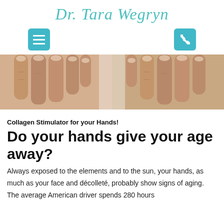Dr. Tara Wegryn
[Figure (photo): Navigation bar with teal hamburger menu icon on the left and teal phone icon on the right]
[Figure (photo): Two pairs of hands shown side by side, illustrating aging hands before and after treatment]
Collagen Stimulator for your Hands!
Do your hands give your age away?
Always exposed to the elements and to the sun, your hands, as much as your face and décolleté, probably show signs of aging. The average American driver spends 280 hours